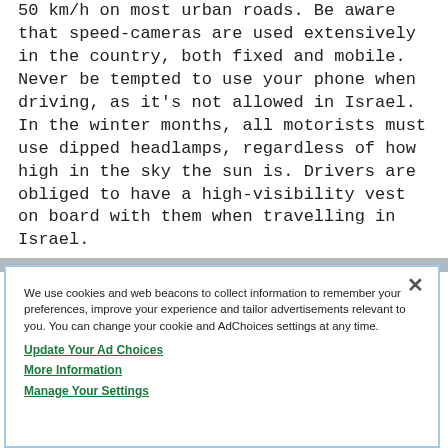50 km/h on most urban roads. Be aware that speed-cameras are used extensively in the country, both fixed and mobile. Never be tempted to use your phone when driving, as it's not allowed in Israel. In the winter months, all motorists must use dipped headlamps, regardless of how high in the sky the sun is. Drivers are obliged to have a high-visibility vest on board with them when travelling in Israel.
We use cookies and web beacons to collect information to remember your preferences, improve your experience and tailor advertisements relevant to you. You can change your cookie and AdChoices settings at any time.
Update Your Ad Choices
More Information
Manage Your Settings